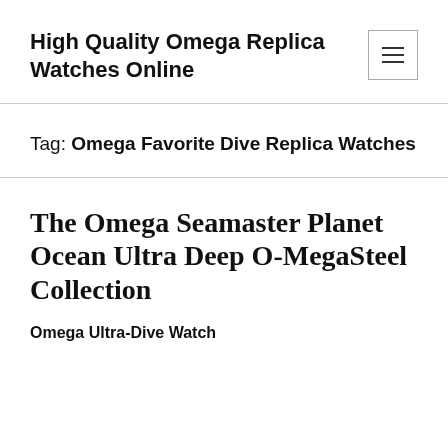High Quality Omega Replica Watches Online
Tag: Omega Favorite Dive Replica Watches
The Omega Seamaster Planet Ocean Ultra Deep O-MegaSteel Collection
Omega Ultra-Dive Watch